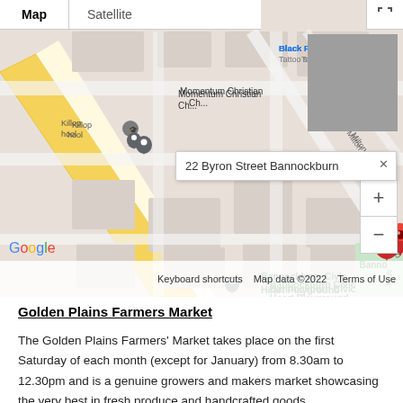[Figure (map): Google Maps screenshot showing 22 Byron Street Bannockburn with a red location pin, surrounding streets and businesses including Black Pyramid Tattoo, Momentum Christian Church, Bannockburn Civic Heart Playground, Tiny Tackers Therapy, St John's Opportunity Shop, Golden Plains Baha'i Community, Electro Squad. Map controls and Google logo visible.]
Golden Plains Farmers Market
The Golden Plains Farmers' Market takes place on the first Saturday of each month (except for January) from 8.30am to 12.30pm and is a genuine growers and makers market showcasing the very best in fresh produce and handcrafted goods